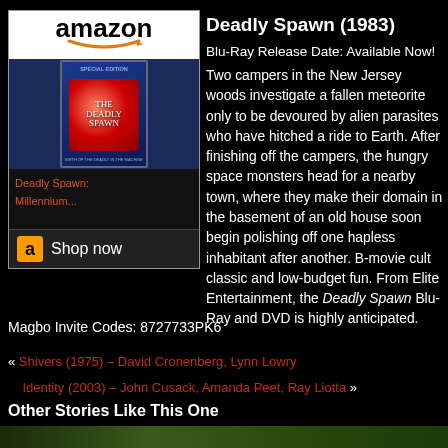[Figure (other): Amazon advertisement block for Deadly Spawn Blu-Ray with Amazon logo, movie cover image, product link in red, and Shop now button]
Deadly Spawn (1983)
Blu-Ray Release Date: Available Now!
Two campers in the New Jersey woods investigate a fallen meteorite only to be devoured by alien parasites who have hitched a ride to Earth. After finishing off the campers, the hungry space monsters head for a nearby town, where they make their domain in the basement of an old house soon begin polishing off one hapless inhabitant after another. B-movie cult classic and low-budget fun. From Elite Entertainment, the Deadly Spawn Blu-Ray and DVD is highly anticipated.
Magbo Invite Codes: 8727733PK6
« Shivers (1975) – David Cronenberg, Lynn Lowry
    Identity (2003) – John Cusack, Amanda Peet, Ray Liotta »
Other Stories Like This One